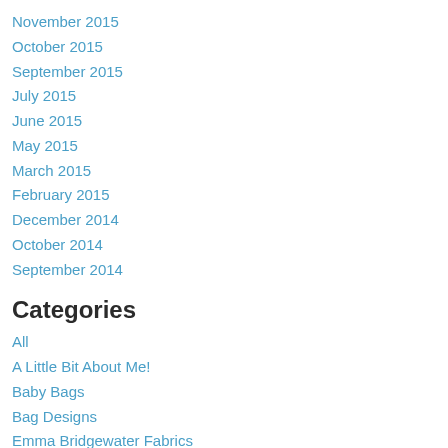November 2015
October 2015
September 2015
July 2015
June 2015
May 2015
March 2015
February 2015
December 2014
October 2014
September 2014
Categories
All
A Little Bit About Me!
Baby Bags
Bag Designs
Emma Bridgewater Fabrics
Finding Fabrics
Here's How I Do It!
Here's One I Made Earlier